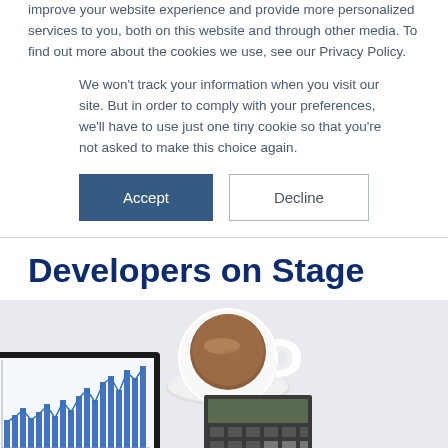improve your website experience and provide more personalized services to you, both on this website and through other media. To find out more about the cookies we use, see our Privacy Policy.
We won't track your information when you visit our site. But in order to comply with your preferences, we'll have to use just one tiny cookie so that you're not asked to make this choice again.
[Figure (screenshot): Two buttons: 'Accept' (dark blue filled) and 'Decline' (white with border)]
Developers on Stage
[Figure (photo): Hero image showing a coffee cup on a saucer, a tablet displaying a bar/line chart with blue data, and a calculator on a light gray/white desk surface.]